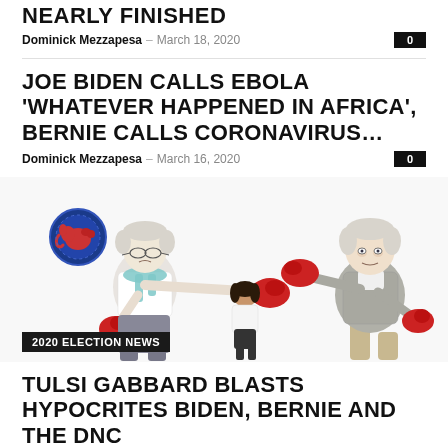NEARLY FINISHED
Dominick Mezzapesa – March 18, 2020
JOE BIDEN CALLS EBOLA 'WHATEVER HAPPENED IN AFRICA', BERNIE CALLS CORONAVIRUS…
Dominick Mezzapesa – March 16, 2020
[Figure (illustration): Boxing meme with elderly Bernie Sanders punching Joe Biden, with a small woman standing between them. A red elephant icon badge is on the left. Caption badge reads '2020 ELECTION NEWS'.]
2020 ELECTION NEWS
TULSI GABBARD BLASTS HYPOCRITES BIDEN, BERNIE AND THE DNC